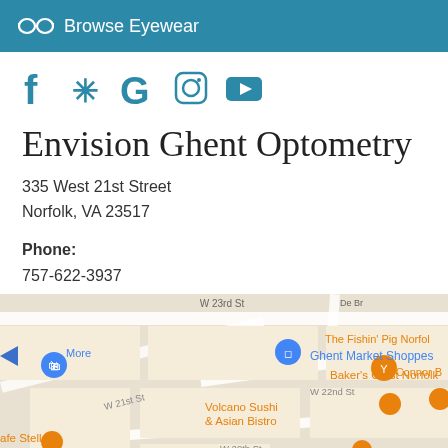Browse Eyewear
[Figure (other): Social media icons: Facebook, Yelp, Google, Instagram, YouTube]
Envision Ghent Optometry
335 West 21st Street
Norfolk, VA 23517
Phone:
757-622-3937
[Figure (map): Google Maps showing area around 335 West 21st Street, Norfolk VA 23517. Landmarks visible: Ghent Market Shoppes, Baker's Crust Norfolk, The Fishin' Pig Norfolk, O'Connor B, Volcano Sushi & Asian Bistro, Palace Shops & Station, afe Stella, 80/20 Burger Bar, W 23rd St, W 21st St, W 22nd St, W 20th St, De Br]